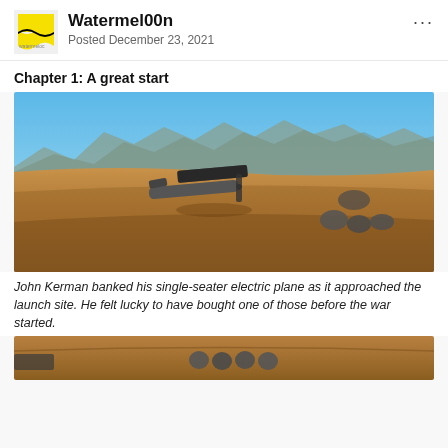Watermel00n
Posted December 23, 2021
Chapter 1: A great start
[Figure (screenshot): A 3D video game screenshot showing a crashed or landed small electric plane with dark solar panel wings on a sandy desert landscape, with mountains in the background under a blue sky. Several dark boulders are visible to the right.]
John Kerman banked his single-seater electric plane as it approached the launch site. He felt lucky to have bought one of those before the war started.
[Figure (screenshot): Partial screenshot showing the bottom portion of another 3D desert scene with some spherical objects visible on sandy ground.]